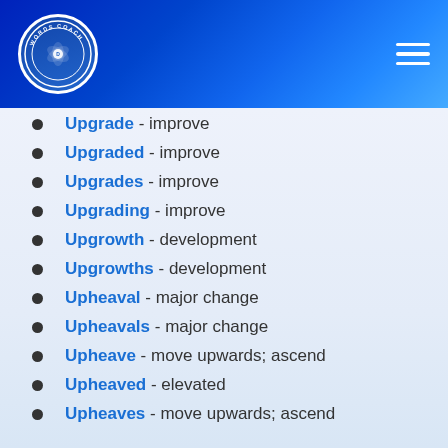[Figure (logo): Words Coach logo - circular badge with camera aperture icon and text 'WORDS COACH' around the edge]
Upgrade - improve
Upgraded - improve
Upgrades - improve
Upgrading - improve
Upgrowth - development
Upgrowths - development
Upheaval - major change
Upheavals - major change
Upheave - move upwards; ascend
Upheaved - elevated
Upheaves - move upwards; ascend